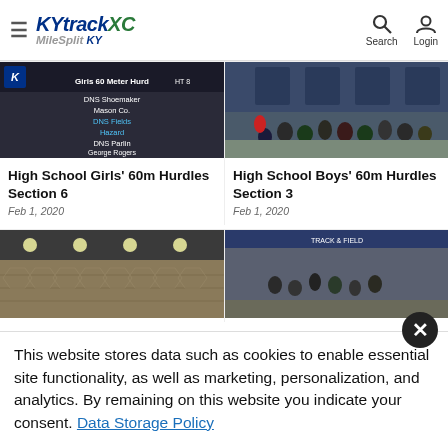KYtrackXC MileSplit KY — Search | Login
[Figure (screenshot): Indoor scoreboard showing Girls 60 Meter Hurdles results with DNS entries]
High School Girls' 60m Hurdles Section 6
Feb 1, 2020
[Figure (photo): Group of runners at indoor track meet in gymnasium]
High School Boys' 60m Hurdles Section 3
Feb 1, 2020
[Figure (photo): Indoor track facility with curved track and overhead lighting]
[Figure (photo): Indoor track meet starting area with runners and officials]
This website stores data such as cookies to enable essential site functionality, as well as marketing, personalization, and analytics. By remaining on this website you indicate your consent. Data Storage Policy